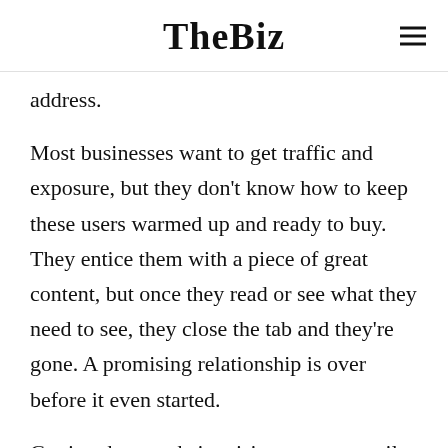TheBiz
address.
Most businesses want to get traffic and exposure, but they don't know how to keep these users warmed up and ready to buy. They entice them with a piece of great content, but once they read or see what they need to see, they close the tab and they're gone. A promising relationship is over before it even started.
Getting these website visitors on an email list is a great way to keep them close to you so you can